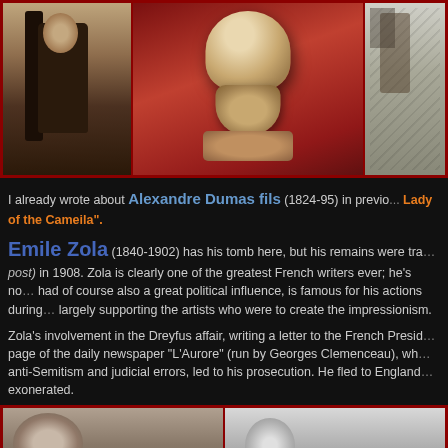[Figure (photo): Three images: sepia portrait of Alexandre Dumas fils, a marble/plaster bust sculpture on red background, and a sketch/drawing]
I already wrote about Alexandre Dumas fils (1824-95) in previous... Lady of the Cameila".
Emile Zola (1840-1902) has his tomb here, but his remains were tra... post) in 1908. Zola is clearly one of the greatest French writers ever; he's no... had of course also a great political influence, is famous for his actions during... largely supporting the artists who were to create the impressionism.
Zola's involvement in the Dreyfus affair, writing a letter to the French Presid... page of the daily newspaper “L’Aurore” (run by Georges Clemenceau), wh... anti-Semitism and judicial errors, led to his prosecution. He fled to England... exonerated.
[Figure (photo): Two photos at bottom: left shows a furry animal/dog face, right shows a black and white portrait]